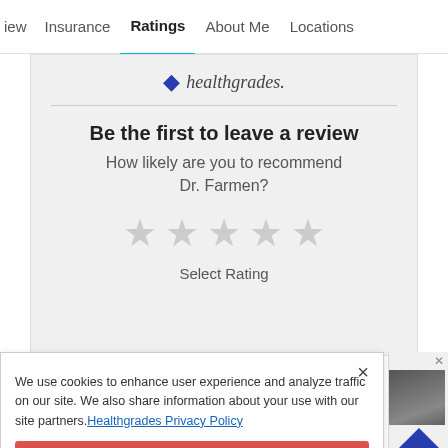iew   Insurance   Ratings   About Me   Locations
[Figure (screenshot): Healthgrades logo with blue checkmark]
Be the first to leave a review
How likely are you to recommend Dr. Farmen?
[Figure (other): Five grey star rating icons]
Select Rating
We use cookies to enhance user experience and analyze traffic on our site. We also share information about your use with our site partners. Healthgrades Privacy Policy
Continue
Access my Privacy Preferences